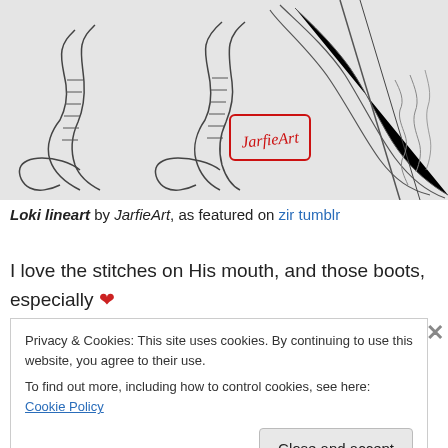[Figure (illustration): Pencil sketch/lineart of Loki character showing boots with laces, flowing costume elements, and a red artist signature stamp in the lower center area. The drawing shows legs and lower body in detailed pencil lineart style.]
Loki lineart by JarfieArt, as featured on zir tumblr
I love the stitches on His mouth, and those boots, especially ❤
Privacy & Cookies: This site uses cookies. By continuing to use this website, you agree to their use.
To find out more, including how to control cookies, see here: Cookie Policy